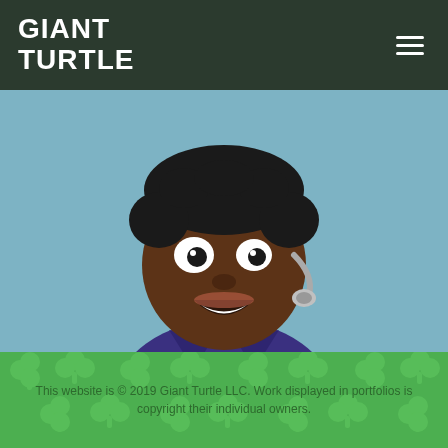Giant Turtle
[Figure (illustration): Cartoon illustration of a young dark-skinned boy with black curly hair, wearing a headset microphone and a purple shirt, smiling, on a blue background]
This website is © 2019 Giant Turtle LLC. Work displayed in portfolios is copyright their individual owners.